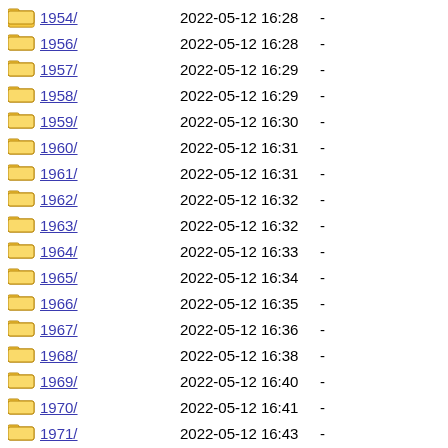1954/ 2022-05-12 16:28 -
1956/ 2022-05-12 16:28 -
1957/ 2022-05-12 16:29 -
1958/ 2022-05-12 16:29 -
1959/ 2022-05-12 16:30 -
1960/ 2022-05-12 16:31 -
1961/ 2022-05-12 16:31 -
1962/ 2022-05-12 16:32 -
1963/ 2022-05-12 16:32 -
1964/ 2022-05-12 16:33 -
1965/ 2022-05-12 16:34 -
1966/ 2022-05-12 16:35 -
1967/ 2022-05-12 16:36 -
1968/ 2022-05-12 16:38 -
1969/ 2022-05-12 16:40 -
1970/ 2022-05-12 16:41 -
1971/ 2022-05-12 16:43 -